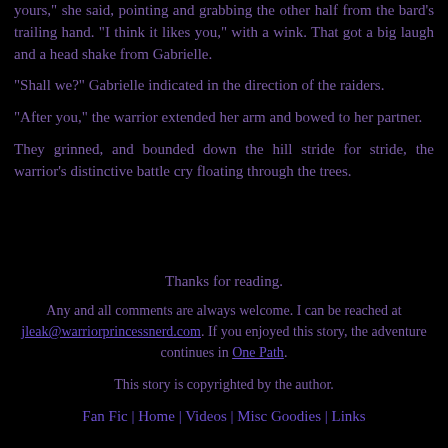yours," she said, pointing and grabbing the other half from the bard's trailing hand. "I think it likes you," with a wink. That got a big laugh and a head shake from Gabrielle.
"Shall we?" Gabrielle indicated in the direction of the raiders.
"After you," the warrior extended her arm and bowed to her partner.
They grinned, and bounded down the hill stride for stride, the warrior's distinctive battle cry floating through the trees.
Thanks for reading.
Any and all comments are always welcome. I can be reached at jleak@warriorprincessnerd.com. If you enjoyed this story, the adventure continues in One Path.
This story is copyrighted by the author.
Fan Fic | Home | Videos | Misc Goodies | Links